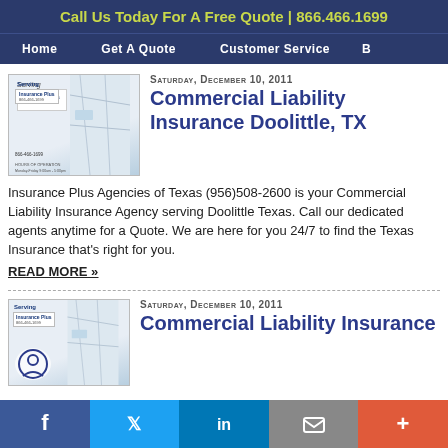Call Us Today For A Free Quote | 866.466.1699
Home | Get A Quote | Customer Service | B
SATURDAY, DECEMBER 10, 2011
Commercial Liability Insurance Doolittle, TX
[Figure (photo): Insurance Plus Agencies of Texas business card with map background]
Insurance Plus Agencies of Texas (956)508-2600 is your Commercial Liability Insurance Agency serving Doolittle Texas. Call our dedicated agents anytime for a Quote. We are here for you 24/7 to find the Texas Insurance that's right for you.
READ MORE >>
SATURDAY, DECEMBER 10, 2011
Commercial Liability Insurance
[Figure (photo): Insurance Plus Agencies of Texas business card with map background and logo]